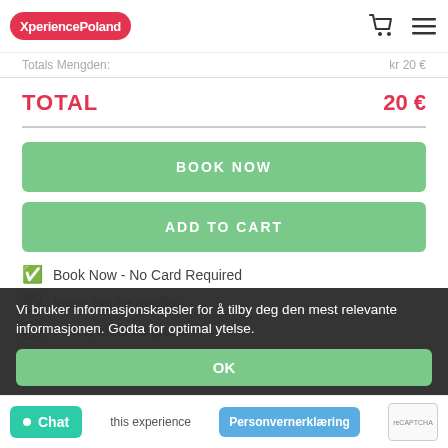XperiencePoland
Totals Mengden: kr 20 €
TOTAL 20 €
BOOK NOW
ADD TO CART
Book Now - No Card Required
Ingen skjulte avgifter
Forespørsel nå gratis
Fleksibel betalingsplan
Enkel kansellering
Vi bruker informasjonskapsler for å tilby deg den mest relevante informasjonen. Godta for optimal ytelse.
OK
this experience
Chat
Personvernerklæring